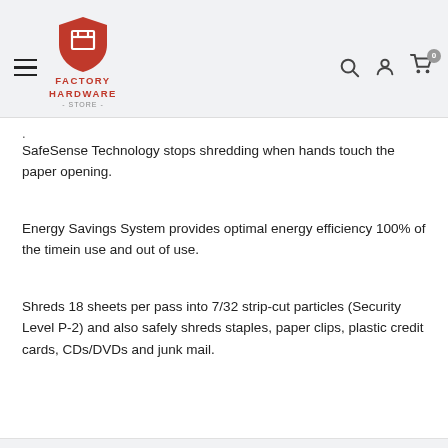Factory Hardware Store
SafeSense Technology stops shredding when hands touch the paper opening.
Energy Savings System provides optimal energy efficiency 100% of the timein use and out of use.
Shreds 18 sheets per pass into 7/32 strip-cut particles (Security Level P-2) and also safely shreds staples, paper clips, plastic credit cards, CDs/DVDs and junk mail.
Payment & Security